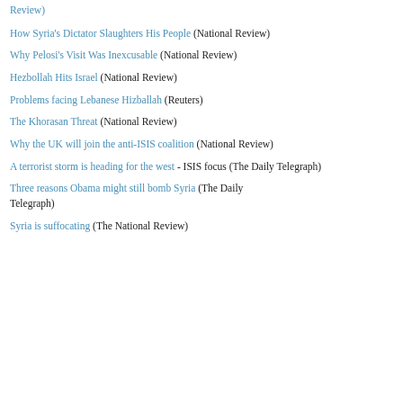Review)
How Syria's Dictator Slaughters His People (National Review)
Why Pelosi's Visit Was Inexcusable (National Review)
Hezbollah Hits Israel (National Review)
Problems facing Lebanese Hizballah (Reuters)
The Khorasan Threat (National Review)
Why the UK will join the anti-ISIS coalition (National Review)
A terrorist storm is heading for the west - ISIS focus (The Daily Telegraph)
Three reasons Obama might still bomb Syria (The Daily Telegraph)
Syria is suffocating (The National Review)